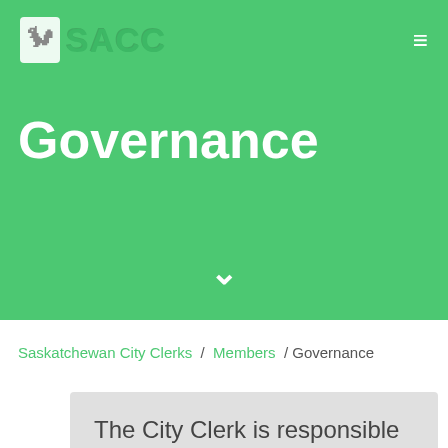SACC
Governance
Saskatchewan City Clerks / Members / Governance
The City Clerk is responsible to ensure that the Council and Administration are informed of and are acting within the governance